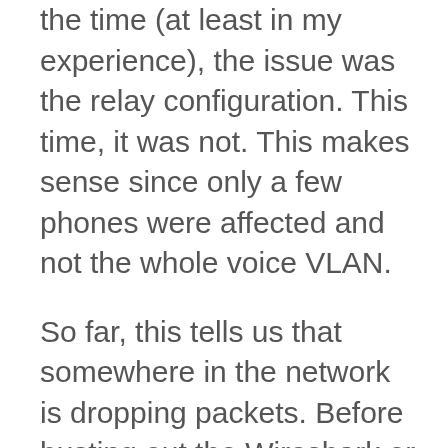the time (at least in my experience), the issue was the relay configuration. This time, it was not. This makes sense since only a few phones were affected and not the whole voice VLAN.
So far, this tells us that somewhere in the network is dropping packets. Before busting out the Wireshark or Ethanalyzer, if available, to track where the packet is being